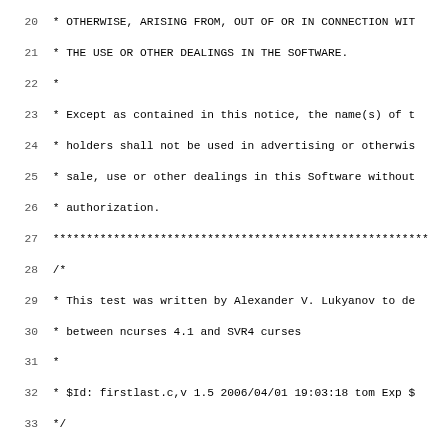Source code listing lines 20-51, C file comment and code beginning with #include <test.priv.h>, static void fill function definition